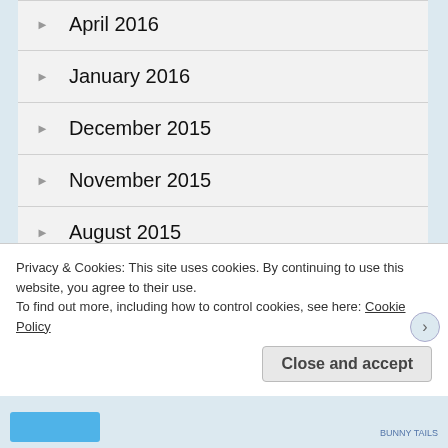April 2016
January 2016
December 2015
November 2015
August 2015
July 2015
June 2015
May 2015
Privacy & Cookies: This site uses cookies. By continuing to use this website, you agree to their use.
To find out more, including how to control cookies, see here: Cookie Policy
Close and accept